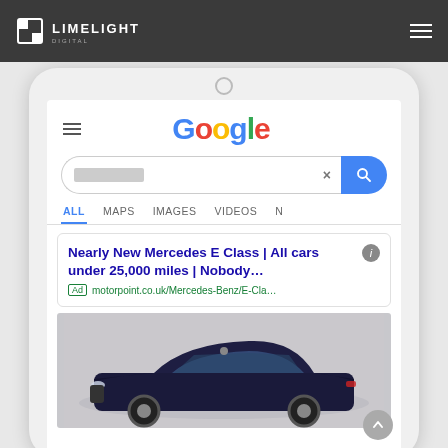LIMELIGHT DIGITAL
[Figure (screenshot): Mobile/tablet screenshot showing a Google search results page with a sponsored ad for 'Nearly New Mercedes E Class | All cars under 25,000 miles | Nobody...' from motorpoint.co.uk/Mercedes-Benz/E-Cla..., followed by a photo of a dark blue Mercedes E Class car.]